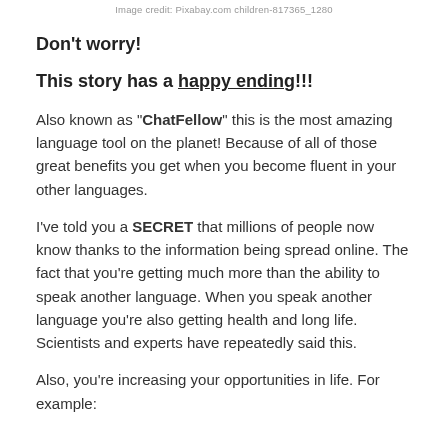Image credit: Pixabay.com children-817365_1280
Don't worry!
This story has a happy ending!!!
Also known as "ChatFellow" this is the most amazing language tool on the planet! Because of all of those great benefits you get when you become fluent in your other languages.
I've told you a SECRET that millions of people now know thanks to the information being spread online. The fact that you're getting much more than the ability to speak another language. When you speak another language you're also getting health and long life. Scientists and experts have repeatedly said this.
Also, you're increasing your opportunities in life. For example: